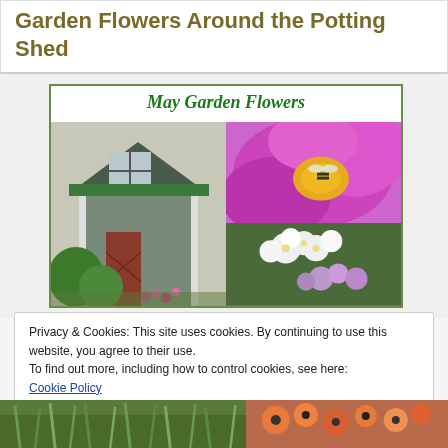Garden Flowers Around the Potting Shed
[Figure (photo): Book cover image titled 'May Garden Flowers' showing a collage: left side shows a green potting shed, top right shows a close-up of a pink/magenta flower with a bee, bottom right shows white and lavender flowers.]
Privacy & Cookies: This site uses cookies. By continuing to use this website, you agree to their use.
To find out more, including how to control cookies, see here:
Cookie Policy
[Figure (photo): Bottom strip showing two partial garden photos: left shows green grass/plants, right shows orange/red flowers.]